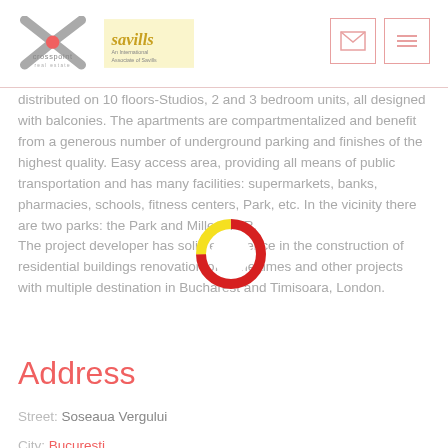[Figure (logo): Crosspoint Real Estate and Savills logos in header]
[Figure (other): Email and menu icon boxes in top right of header]
distributed on 10 floors-Studios, 2 and 3 bedroom units, all designed with balconies. The apartments are compartmentalized and benefit from a generous number of underground parking and finishes of the highest quality. Easy access area, providing all means of public transportation and has many facilities: supermarkets, banks, pharmacies, schools, fitness centers, Park, etc. In the vicinity there are two parks: the Park and Millers IOR.
The project developer has solid experience in the construction of residential buildings renovation of some times and other projects with multiple destination in Bucharest and Timisoara, London.
[Figure (donut-chart): Small donut chart overlaid on body text, red and yellow segments]
Address
Street: Soseaua Vergului
City: Bucuresti